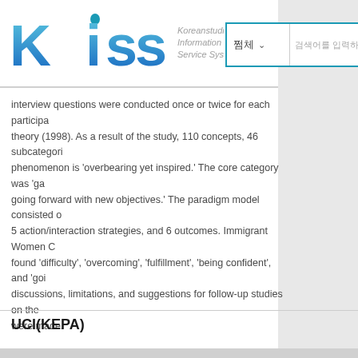[Figure (logo): KISS - Koreanstudies Information Service System logo with blue stylized letters and grey subtitle text]
interview questions were conducted once or twice for each participant. theory (1998). As a result of the study, 110 concepts, 46 subcategories phenomenon is 'overbearing yet inspired.' The core category was 'ga going forward with new objectives.' The paradigm model consisted of 5 action/interaction strategies, and 6 outcomes. Immigrant Women C found 'difficulty', 'overcoming', 'fulfillment', 'being confident', and 'goi discussions, limitations, and suggestions for follow-up studies on the were made.
UCI(KEPA)